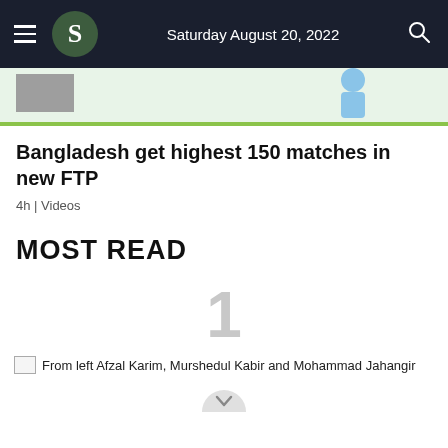Saturday August 20, 2022
[Figure (screenshot): Partial article thumbnail image showing illustration with green border and a grey box on left and blue figure on right]
Bangladesh get highest 150 matches in new FTP
4h | Videos
MOST READ
1
From left Afzal Karim, Murshedul Kabir and Mohammad Jahangir